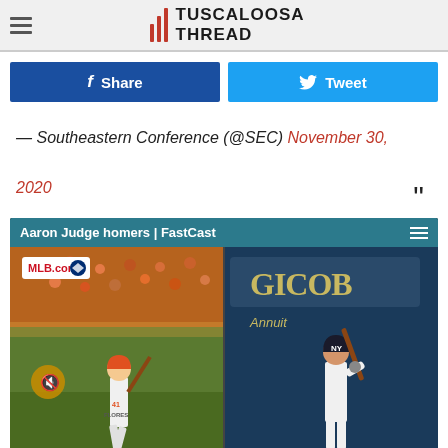Tuscaloosa Thread
Share | Tweet
— Southeastern Conference (@SEC) November 30, 2020
[Figure (screenshot): MLB.com video player showing Aaron Judge homers FastCast — split screen with Flores batting on left and Aaron Judge batting on right]